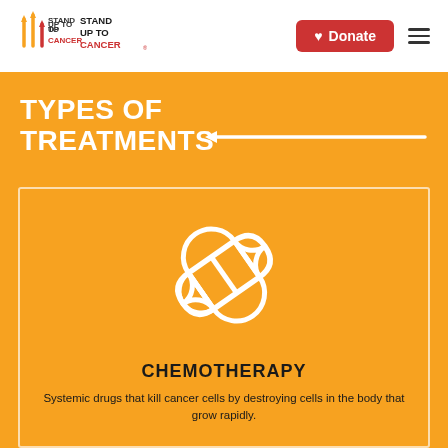Stand Up To Cancer — Donate
TYPES OF TREATMENTS
[Figure (illustration): White outline pill/capsule icon on orange background]
CHEMOTHERAPY
Systemic drugs that kill cancer cells by destroying cells in the body that grow rapidly.